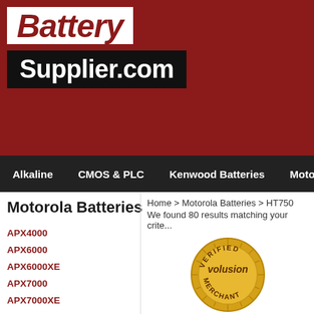[Figure (logo): Battery Supplier.com logo on dark red background]
Alkaline | CMOS & PLC | Kenwood Batteries | Motorola Batteries | Mi...
Motorola Batteries
Home > Motorola Batteries > HT750
We found 80 results matching your crite...
APX4000
APX6000
APX6000XE
APX7000
APX7000XE
CP100
CP150
CP200
CT250,CT450
FX500, FX600
[Figure (logo): Volusion Verified Merchant gold seal badge]
HT750
HT750 - Antennas
HT750- Batteries
HT750 - Carry Cases
HT750 - Chargers